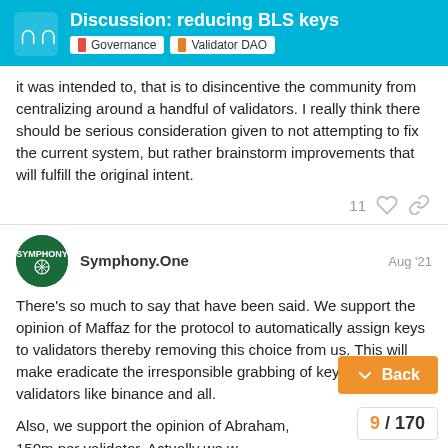Discussion: reducing BLS keys | Governance | Validator DAO
it was intended to, that is to disincentive the community from centralizing around a handful of validators. I really think there should be serious consideration given to not attempting to fix the current system, but rather brainstorm improvements that will fulfill the original intent.
11 [likes]
Symphony.One  Aug '21
There's so much to say that have been said. We support the opinion of Maffaz for the protocol to automatically assign keys to validators thereby removing this choice from us. This will make eradicate the irresponsible grabbing of keys by large validators like binance and all.
Also, we support the opinion of Abraham, ... stake to 150m per validator. Actually we w... ... to limit this to 100...
Back
9 / 170